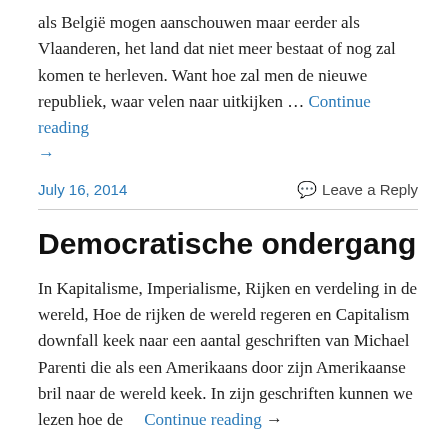als België mogen aanschouwen maar eerder als Vlaanderen, het land dat niet meer bestaat of nog zal komen te herleven. Want hoe zal men de nieuwe republiek, waar velen naar uitkijken … Continue reading →
July 16, 2014    Leave a Reply
Democratische ondergang
In Kapitalisme, Imperialisme, Rijken en verdeling in de wereld, Hoe de rijken de wereld regeren en Capitalism downfall keek naar een aantal geschriften van Michael Parenti die als een Amerikaans door zijn Amerikaanse bril naar de wereld keek. In zijn geschriften kunnen we lezen hoe de Continue reading →